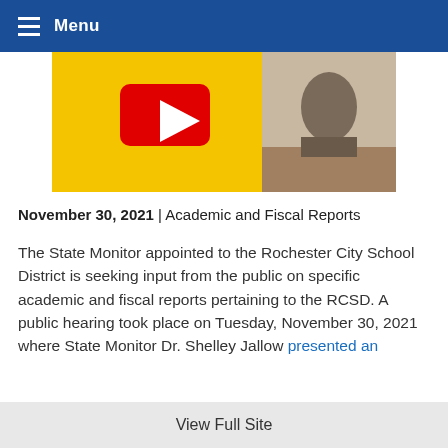Menu
[Figure (screenshot): Video thumbnail showing a yellow background with a red YouTube play button icon and a partial image of a person at a desk on the right side.]
November 30, 2021 | Academic and Fiscal Reports
The State Monitor appointed to the Rochester City School District is seeking input from the public on specific academic and fiscal reports pertaining to the RCSD. A public hearing took place on Tuesday, November 30, 2021 where State Monitor Dr. Shelley Jallow presented an
View Full Site